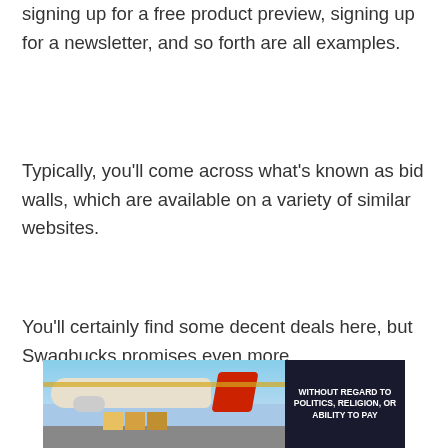signing up for a free product preview, signing up for a newsletter, and so forth are all examples.
Typically, you’ll come across what’s known as bid walls, which are available on a variety of similar websites.
You’ll certainly find some decent deals here, but Swagbucks promises even more.
[Figure (photo): Advertisement banner showing an airplane being loaded with cargo on the tarmac, with a dark banner on the right reading 'WITHOUT REGARD TO POLITICS, RELIGION, OR ABILITY TO PAY']